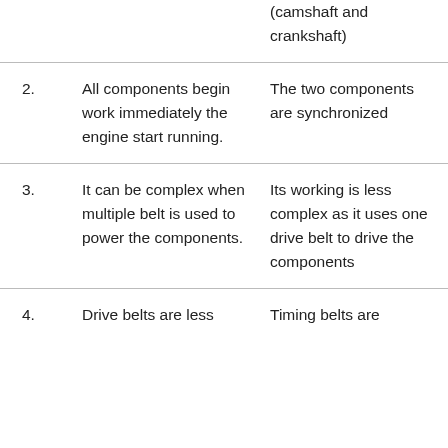|  |  |  |
| --- | --- | --- |
|  |  | (camshaft and crankshaft) |
| 2. | All components begin work immediately the engine start running. | The two components are synchronized |
| 3. | It can be complex when multiple belt is used to power the components. | Its working is less complex as it uses one drive belt to drive the components |
| 4. | Drive belts are less | Timing belts are |